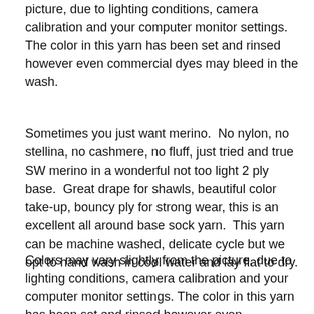picture, due to lighting conditions, camera calibration and your computer monitor settings. The color in this yarn has been set and rinsed however even commercial dyes may bleed in the wash.
Sometimes you just want merino.  No nylon, no stellina, no cashmere, no fluff, just tried and true SW merino in a wonderful not too light 2 ply base.  Great drape for shawls, beautiful color take-up, bouncy ply for strong wear, this is an excellent all around base sock yarn.  This yarn can be machine washed, delicate cycle but we opt to hand wash in cool water and lay flat to dry.
Colors may vary slightly from the picture, due to lighting conditions, camera calibration and your computer monitor settings. The color in this yarn has been set and rinsed however even commercial dyes may bleed in the wash.